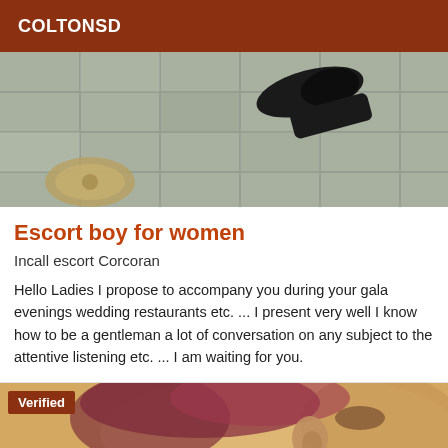COLTONSD
[Figure (photo): Photo of tiled floor with a black dress shoe visible, viewed from above]
Escort boy for women
Incall escort Corcoran
Hello Ladies I propose to accompany you during your gala evenings wedding restaurants etc. ... I present very well I know how to be a gentleman a lot of conversation on any subject to the attentive listening etc. ... I am waiting for you.
[Figure (photo): Close-up photo of a person's face with reddish/pink hair, showing ear and side of face. Has a 'Verified' badge overlay.]